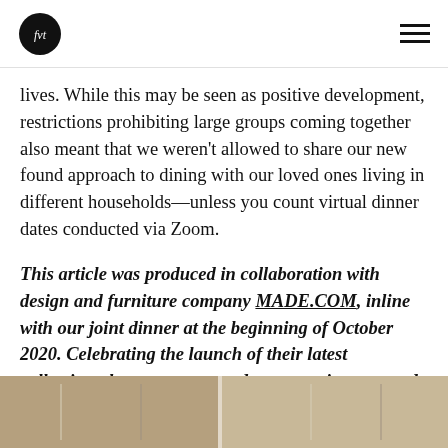fvt [logo] [hamburger menu]
lives. While this may be seen as positive development, restrictions prohibiting large groups coming together also meant that we weren't allowed to share our new found approach to dining with our loved ones living in different households—unless you count virtual dinner dates conducted via Zoom.
This article was produced in collaboration with design and furniture company MADE.COM, inline with our joint dinner at the beginning of October 2020. Celebrating the launch of their latest collection, the event prompted conversations around developments in contemporary dining habits.
[Figure (photo): Bottom strip showing what appears to be a room interior with furniture, warm beige/tan tones]